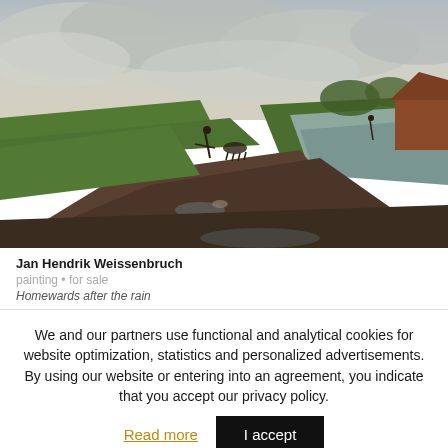[Figure (illustration): Oil painting of a rural Dutch landscape after rain. A muddy path with puddles in the foreground, green fields with a figure and cattle in the middle ground, a stream or canal on the right, farm buildings in the background right, and an overcast cloudy sky.]
Jan Hendrik Weissenbruch
painting • for sale
Homewards after the rain
We and our partners use functional and analytical cookies for website optimization, statistics and personalized advertisements. By using our website or entering into an agreement, you indicate that you accept our privacy policy.
Read more
I accept